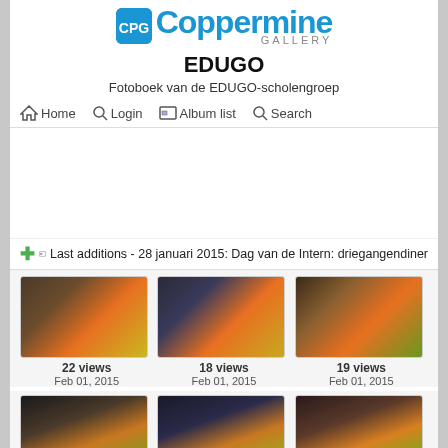[Figure (logo): Coppermine Gallery logo with CPG icon and text]
EDUGO
Fotoboek van de EDUGO-scholengroep
Home  Login  Album list  Search
Last additions - 28 januari 2015: Dag van de Intern: driegangendiner
[Figure (photo): Students sitting at table with colorful orange/green tablecloth, dinner setting]
22 views
Feb 01, 2015
[Figure (photo): Students at dinner table, dark background]
18 views
Feb 01, 2015
[Figure (photo): Students at round table with orange/green tablecloth]
19 views
Feb 01, 2015
[Figure (photo): Students seated at dinner, bottom row left]
[Figure (photo): Students seated at dinner, bottom row middle]
[Figure (photo): Students seated at dinner, bottom row right]